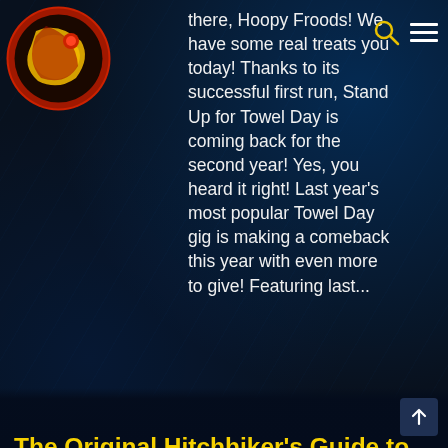[Figure (logo): Circular logo with yellow and red design on dark background, appears to be a website/blog logo]
there, Hoopy Froods! We have some real treats you today! Thanks to its successful first run, Stand Up for Towel Day is coming back for the second year! Yes, you heard it right! Last year's most popular Towel Day gig is making a comeback this year with even more to give! Featuring last...
The Original Hitchhiker's Guide to the Galaxy 1978 Radio Show
Douglas Adams Virtual Museum, Entertainment, Fiction, Humor and Satire, Life, the Universe, and Everything, Literature and Books, The Funnies
By Demetria Blacksmith • May 22, 2017 • 1 Comment
As we approach Towel Day, we are coming up with some sweet treats for our followers. One of these